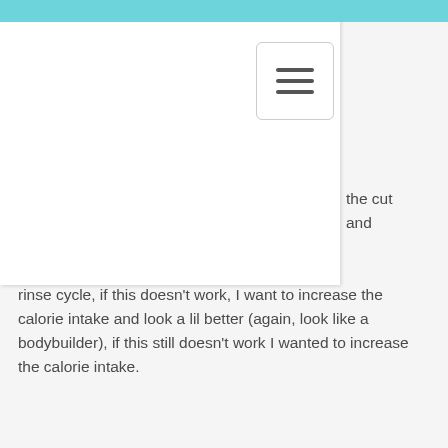[Figure (screenshot): Teal/cyan top navigation bar with hamburger menu button (three horizontal lines) on a white dropdown panel overlay]
the cut and rinse cycle, if this doesn't work, I want to increase the calorie intake and look a lil better (again, look like a bodybuilder), if this still doesn't work I wanted to increase the calorie intake.
This is the cycle I'm taking my physique training to the next level, and the workout schedule that I'm going to follow for the next few weeks.
I will keep posting more detailed info on the exact calorie count and macros for the "cut & rinse work outs" in the weeks to come, bulking workout.